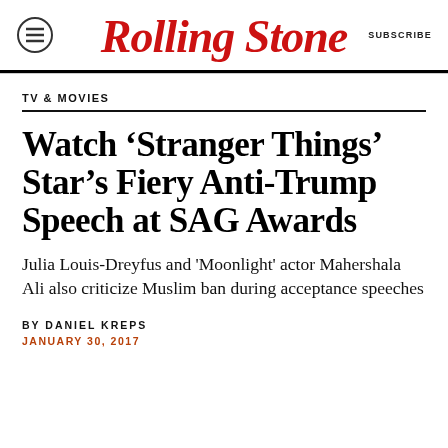Rolling Stone — SUBSCRIBE
TV & MOVIES
Watch ‘Stranger Things’ Star’s Fiery Anti-Trump Speech at SAG Awards
Julia Louis-Dreyfus and 'Moonlight' actor Mahershala Ali also criticize Muslim ban during acceptance speeches
BY DANIEL KREPS
JANUARY 30, 2017